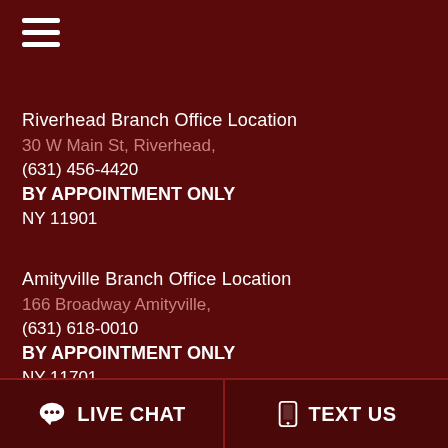[Figure (other): Hamburger menu icon with three white horizontal lines]
Riverhead Branch Office Location
30 W Main St, Riverhead,
(631) 456-4420
BY APPOINTMENT ONLY
NY 11901
Amityville Branch Office Location
166 Broadway Amityville,
(631) 618-0010
BY APPOINTMENT ONLY
NY 11701
LIVE CHAT   TEXT US